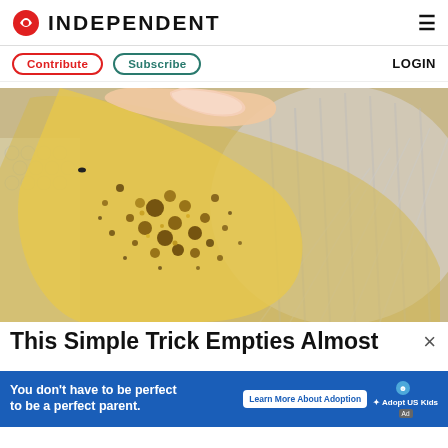INDEPENDENT
Contribute | Subscribe | LOGIN
[Figure (photo): Close-up photo of a hand with long nails holding a yellowish translucent piece of material covered in dark brown spots and granules, being peeled or pulled apart over a glass bowl with a textured pattern.]
This Simple Trick Empties Almost
[Figure (other): Advertisement banner: blue background with text 'You don't have to be perfect to be a perfect parent.' with 'Learn More About Adoption' button and 'Adopt US Kids' logo with Ad badge.]